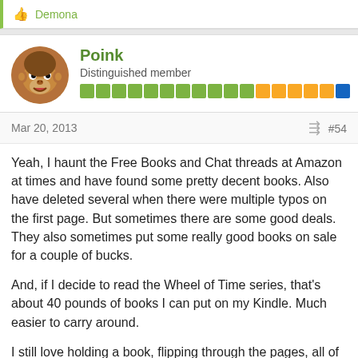👍 Demona
Poink
Distinguished member
Mar 20, 2013  #54
Yeah, I haunt the Free Books and Chat threads at Amazon at times and have found some pretty decent books. Also have deleted several when there were multiple typos on the first page. But sometimes there are some good deals. They also sometimes put some really good books on sale for a couple of bucks.
And, if I decide to read the Wheel of Time series, that's about 40 pounds of books I can put on my Kindle. Much easier to carry around.
I still love holding a book, flipping through the pages, all of the sensory input. But right now I have over a hundred full length books and I want to have all of them with me at the same time.